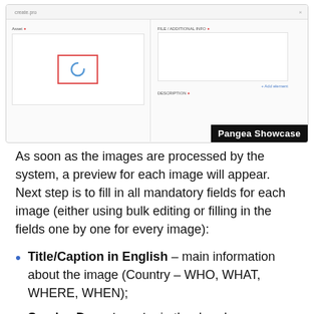[Figure (screenshot): Screenshot of a web application (Pangea Showcase) showing an image upload interface with a loading spinner in a red-bordered box on the left panel, and a text area on the right panel. A black 'Pangea Showcase' badge appears in the bottom-right corner of the screenshot.]
As soon as the images are processed by the system, a preview for each image will appear. Next step is to fill in all mandatory fields for each image (either using bulk editing or filling in the fields one by one for every image):
Title/Caption in English – main information about the image (Country – WHO, WHAT, WHERE, WHEN);
Service Department – in the dropdown menu select the Service that uploaded the image;
Image Taken – date, when the image(s) were